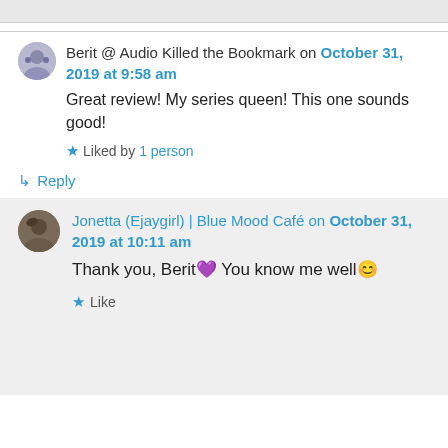Berit @ Audio Killed the Bookmark on October 31, 2019 at 9:58 am
Great review! My series queen! This one sounds good!
★ Liked by 1 person
↳ Reply
Jonetta (Ejaygirl) | Blue Mood Café on October 31, 2019 at 10:11 am
Thank you, Berit💜 You know me well😊
★ Like